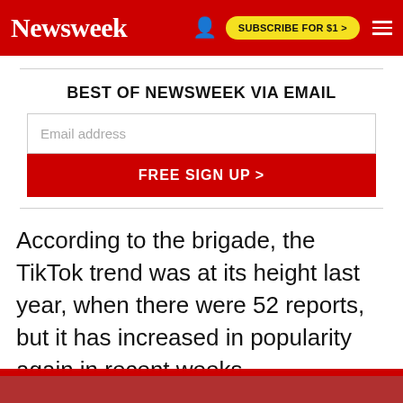Newsweek | SUBSCRIBE FOR $1 >
BEST OF NEWSWEEK VIA EMAIL
Email address
FREE SIGN UP >
According to the brigade, the TikTok trend was at its height last year, when there were 52 reports, but it has increased in popularity again in recent weeks.
[Figure (photo): Bottom partial image strip showing what appears to be a person, with red banner at top]